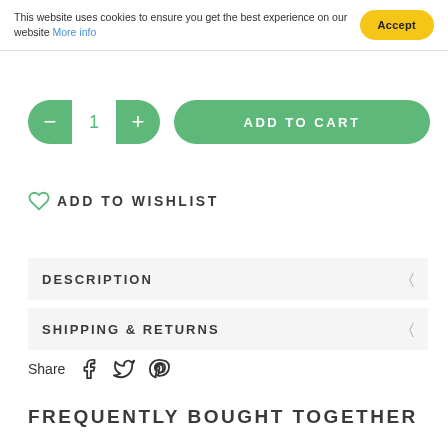This website uses cookies to ensure you get the best experience on our website More info [Accept]
[Figure (screenshot): Quantity selector pill with minus button, number 1, plus button, and green Add to Cart button]
ADD TO WISHLIST
DESCRIPTION
SHIPPING & RETURNS
Share [Facebook icon] [Twitter icon] [Pinterest icon]
FREQUENTLY BOUGHT TOGETHER